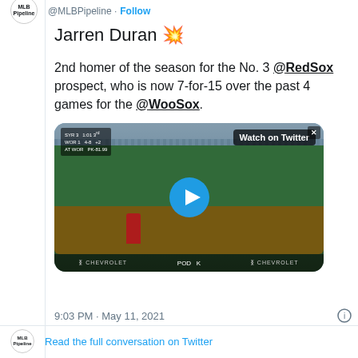@MLBPipeline · Follow
Jarren Duran 💥
2nd homer of the season for the No. 3 @RedSox prospect, who is now 7-for-15 over the past 4 games for the @WooSox.
[Figure (screenshot): Video thumbnail of a baseball game with a play button overlay and 'Watch on Twitter' label]
9:03 PM · May 11, 2021
Read the full conversation on Twitter